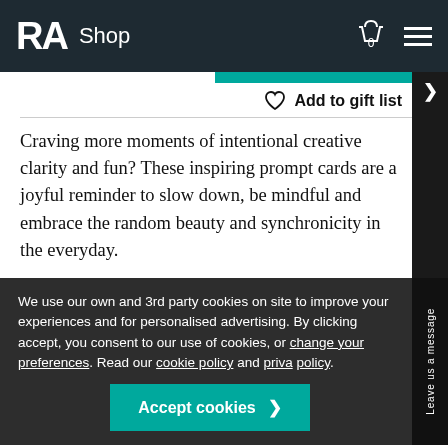RA Shop
Add to gift list
Craving more moments of intentional creative clarity and fun? These inspiring prompt cards are a joyful reminder to slow down, be mindful and embrace the random beauty and synchronicity in the everyday.
We use our own and 3rd party cookies on site to improve your experiences and for personalised advertising. By clicking accept, you consent to our use of cookies, or change your preferences. Read our cookie policy and privacy policy.
Accept cookies >